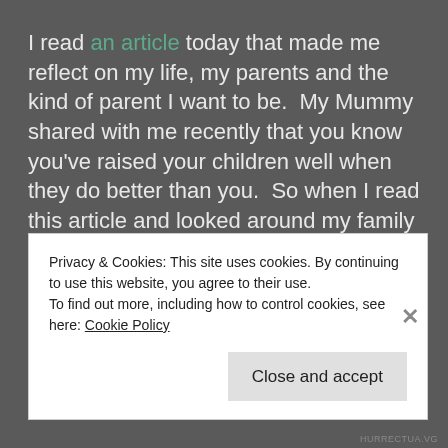I read an article today that made me reflect on my life, my parents and the kind of parent I want to be.  My Mummy shared with me recently that you know you've raised your children well when they do better than you.  So when I read this article and looked around my family and friends, we've all been pretty fortunate to have parents who have done so very well.
Me and my sister for one, are afforded choices my
Privacy & Cookies: This site uses cookies. By continuing to use this website, you agree to their use.
To find out more, including how to control cookies, see here: Cookie Policy
Close and accept